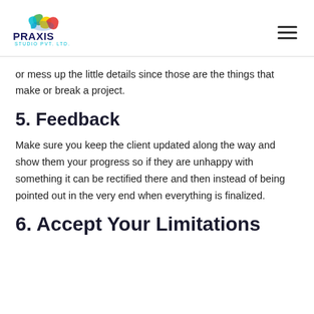PRAXIS STUDIO PVT. LTD.
or mess up the little details since those are the things that make or break a project.
5. Feedback
Make sure you keep the client updated along the way and show them your progress so if they are unhappy with something it can be rectified there and then instead of being pointed out in the very end when everything is finalized.
6. Accept Your Limitations